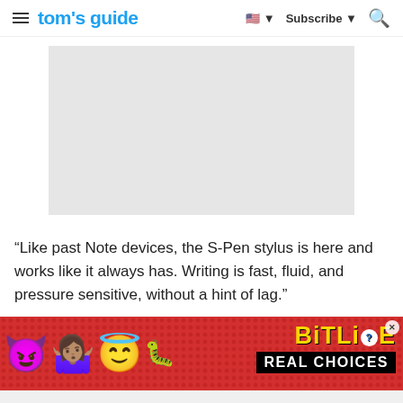tom's guide — Subscribe
[Figure (other): Gray advertisement placeholder rectangle]
“Like past Note devices, the S-Pen stylus is here and works like it always has. Writing is fast, fluid, and pressure sensitive, without a hint of lag.”
[Figure (other): BitLife banner advertisement with devil emoji, person shrugging emoji, angel emoji, and sperm emoji on red dotted background. Shows 'BitLiFE REAL CHOICES' branding.]